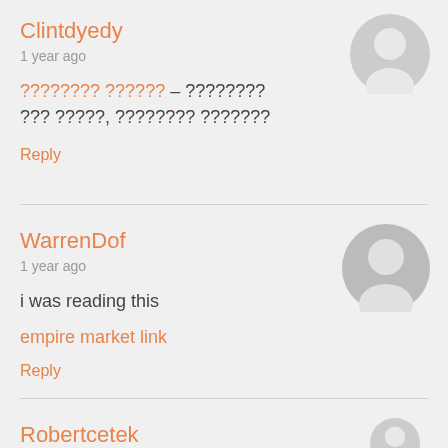Clintdyedy
1 year ago
???????? ?????? – ???????? ??? ?????, ???????? ???????
Reply
WarrenDof
1 year ago
i was reading this
empire market link
Reply
Robertcetek